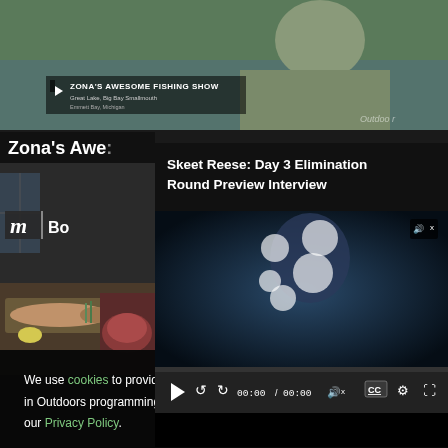[Figure (screenshot): Fishing show screenshot with overlay showing ZONA'S AWESOME FISHING SHOW title, Great Lake, Big Bay Smallmouth subtitle, Emmett Bay, Michigan location]
Zona's Awe...
[Figure (screenshot): Video popup overlay showing 'Skeet Reese: Day 3 Elimination Round Preview Interview' with video player controls showing 00:00 / 00:00 time, mute, CC, settings and fullscreen buttons]
[Figure (screenshot): Left panel showing cooking/food content with 'm' logo and 'Bo' text visible, with food preparation images below]
We use cookies to provide you with the best experience Accept × in Outdoors programming. Click accept to continue or read about our Privacy Policy.